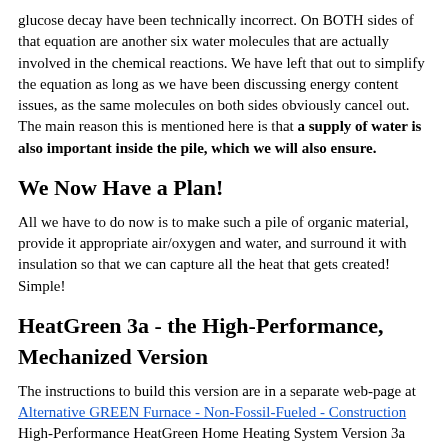glucose decay have been technically incorrect. On BOTH sides of that equation are another six water molecules that are actually involved in the chemical reactions. We have left that out to simplify the equation as long as we have been discussing energy content issues, as the same molecules on both sides obviously cancel out. The main reason this is mentioned here is that a supply of water is also important inside the pile, which we will also ensure.
We Now Have a Plan!
All we have to do now is to make such a pile of organic material, provide it appropriate air/oxygen and water, and surround it with insulation so that we can capture all the heat that gets created! Simple!
HeatGreen 3a - the High-Performance, Mechanized Version
The instructions to build this version are in a separate web-page at Alternative GREEN Furnace - Non-Fossil-Fueled - Construction High-Performance HeatGreen Home Heating System Version 3a public3/globalzl.html